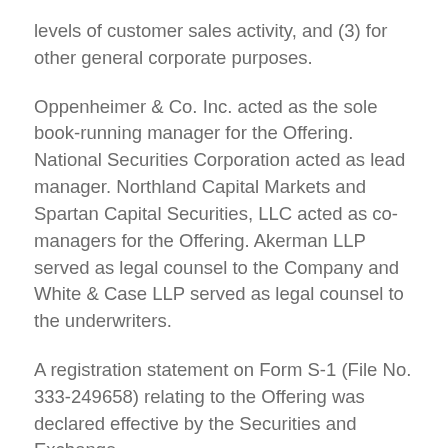levels of customer sales activity, and (3) for other general corporate purposes.
Oppenheimer & Co. Inc. acted as the sole book-running manager for the Offering. National Securities Corporation acted as lead manager. Northland Capital Markets and Spartan Capital Securities, LLC acted as co-managers for the Offering. Akerman LLP served as legal counsel to the Company and White & Case LLP served as legal counsel to the underwriters.
A registration statement on Form S-1 (File No. 333-249658) relating to the Offering was declared effective by the Securities and Exchange